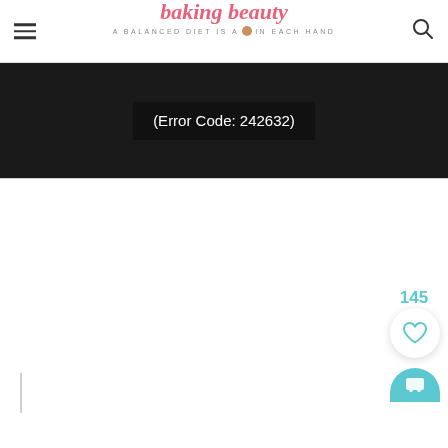baking beauty — A BALANCED DIET IS A 🍪 IN EACH HAND
[Figure (screenshot): Black video player area showing error code text: (Error Code: 242632)]
145
[Figure (illustration): Heart/like button (circle with heart icon) and teal rounded button below, on right side of page]